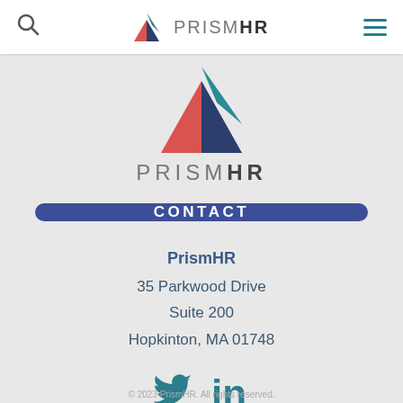PrismHR navigation bar with search icon, PrismHR logo, and hamburger menu
[Figure (logo): PrismHR triangle logo — large version, centered on page, with red, teal, and dark blue triangular segments forming an upward-pointing arrow/triangle shape]
PRISMHR
CONTACT
PrismHR
35 Parkwood Drive
Suite 200
Hopkinton, MA 01748
[Figure (other): Twitter and LinkedIn social media icons in teal color]
© 2023 PrismHR. All rights reserved.